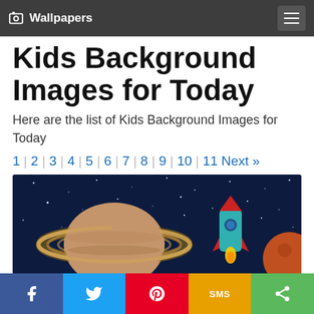Wallpapers
Kids Background Images for Today
Here are the list of Kids Background Images for Today
1 | 2 | 3 | 4 | 5 | 6 | 7 | 8 | 9 | 10 | 11 Next »
[Figure (illustration): Cartoon space scene with Saturn planet, a rocket ship, and stars on a dark blue background]
[Figure (infographic): Social sharing bar with Facebook, Twitter, Pinterest, SMS, and Share buttons]